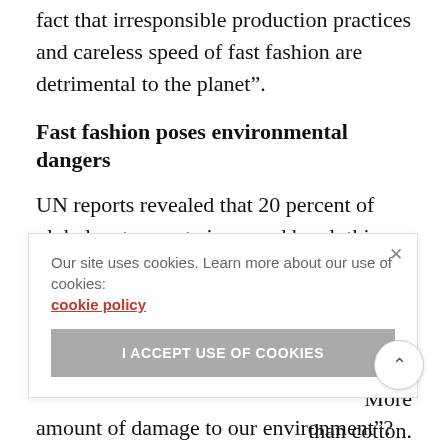fact that irresponsible production practices and careless speed of fast fashion are detrimental to the planet”.
Fast fashion poses environmental dangers
UN reports revealed that 20 percent of global water waste is caused by clothing industry. Discarded clothes, which are often left in deserts like the Atacama, take hundreds of year to biodegrade, polluting water and the environment.
se of rofibers to More than cotton. stantial
Our site uses cookies. Learn more about our use of cookies: cookie policy
I ACCEPT USE OF COOKIES
amount of damage to our environment”?